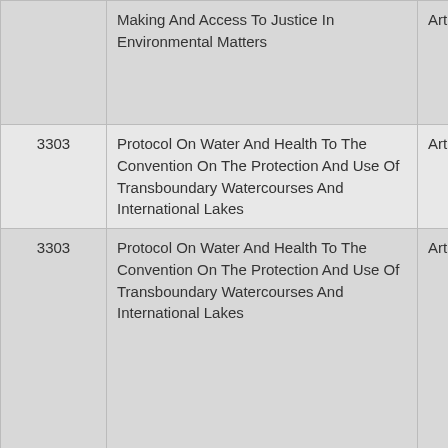| [Number] | [Name] | Art. |
| --- | --- | --- |
|  | Making And Access To Justice In Environmental Matters | Art. |
| 3303 | Protocol On Water And Health To The Convention On The Protection And Use Of Transboundary Watercourses And International Lakes | Art. |
| 3303 | Protocol On Water And Health To The Convention On The Protection And Use Of Transboundary Watercourses And International Lakes | Art. |
| 3303 | Protocol On Water And Health To The Convention On The Protection And Use | Art. |